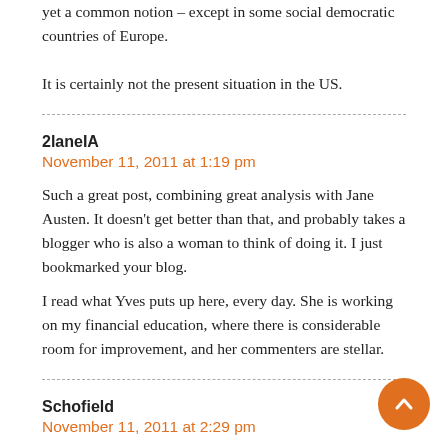yet a common notion – except in some social democratic countries of Europe.

It is certainly not the present situation in the US.
2laneIA
November 11, 2011 at 1:19 pm
Such a great post, combining great analysis with Jane Austen. It doesn't get better than that, and probably takes a blogger who is also a woman to think of doing it. I just bookmarked your blog.
I read what Yves puts up here, every day. She is working on my financial education, where there is considerable room for improvement, and her commenters are stellar.
Schofield
November 11, 2011 at 2:29 pm
Well sorry you haven't noticed Andrew Hartman but the Occupy movement is promoting a key message to fill the hole at the heart of the American Constitution. That message